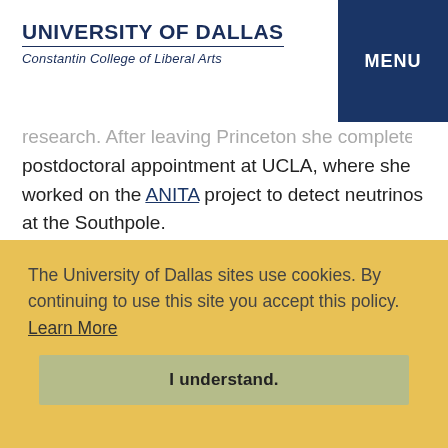UNIVERSITY OF DALLAS — Constantin College of Liberal Arts
research. After leaving Princeton she completed a second postdoctoral appointment at UCLA, where she worked on the ANITA project to detect neutrinos at the Southpole.
The University of Dallas sites use cookies. By continuing to use this site you accept this policy. Learn More
I understand.